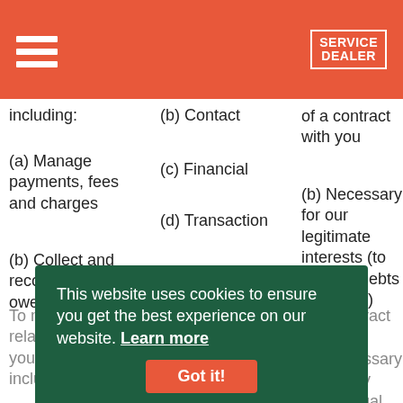SERVICE DEALER
including:
(a) Manage payments, fees and charges
(b) Contact
(c) Financial
of a contract with you
(d) Transaction
(b) Collect and recover money owed to us
(b) Necessary for our legitimate interests (to recover debts due to us)
(e) Marketing and Communications
This website uses cookies to ensure you get the best experience on our website. Learn more Got it!
To manage our relationship with you which will include:
(a) Identity
(b) Contact
of a contract with you
(b) Necessary to comply with a legal obligation